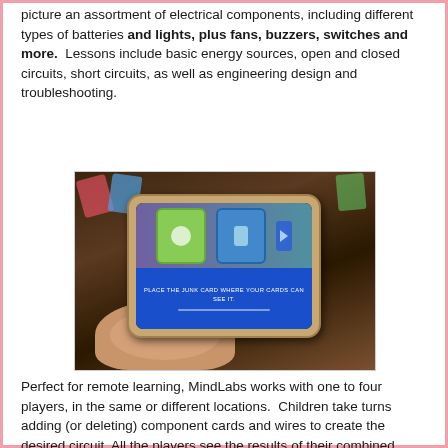picture an assortment of electrical components, including different types of batteries and lights, plus fans, buzzers, switches and more. Lessons include basic energy sources, open and closed circuits, short circuits, as well as engineering design and troubleshooting.
[Figure (photo): A hand holding a smartphone displaying a card game app with colorful component cards and the text 'PLACE THE JUNK CARD WHERE YOUR CARDS CAN SEE IT.' on a blue banner at the bottom of the screen.]
Perfect for remote learning, MindLabs works with one to four players, in the same or different locations. Children take turns adding (or deleting) component cards and wires to create the desired circuit. All the players see the results of their combined efforts at the same time through their device. It's a great tool to foster collaboration in STEM.